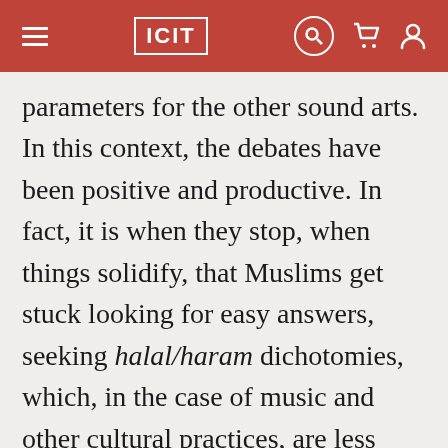ICIT
parameters for the other sound arts. In this context, the debates have been positive and productive. In fact, it is when they stop, when things solidify, that Muslims get stuck looking for easy answers, seeking halal/haram dichotomies, which, in the case of music and other cultural practices, are less productive than ongoing discussion.
However the legal issues are resolved, it is important to recognize that there is now an onslaught of industrialized music (and other